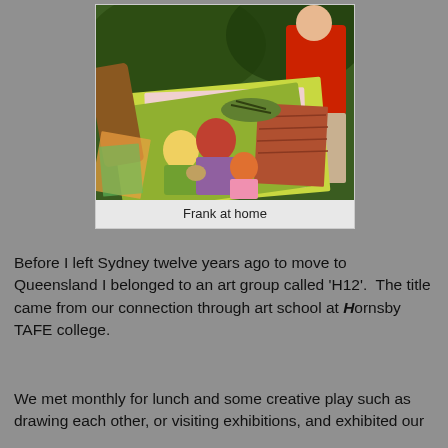[Figure (photo): Photo of Frank at home, standing behind a table displaying multiple colorful artworks and paintings including figures of people and animals.]
Frank at home
Before I left Sydney twelve years ago to move to Queensland I belonged to an art group called 'H12'.  The title came from our connection through art school at Hornsby TAFE college.
We met monthly for lunch and some creative play such as drawing each other, or visiting exhibitions, and exhibited our